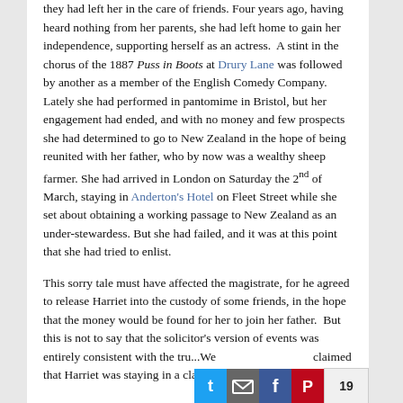they had left her in the care of friends. Four years ago, having heard nothing from her parents, she had left home to gain her independence, supporting herself as an actress. A stint in the chorus of the 1887 Puss in Boots at Drury Lane was followed by another as a member of the English Comedy Company. Lately she had performed in pantomime in Bristol, but her engagement had ended, and with no money and few prospects she had determined to go to New Zealand in the hope of being reunited with her father, who by now was a wealthy sheep farmer. She had arrived in London on Saturday the 2nd of March, staying in Anderton's Hotel on Fleet Street while she set about obtaining a working passage to New Zealand as an under-stewardess. But she had failed, and it was at this point that she had tried to enlist.
This sorry tale must have affected the magistrate, for he agreed to release Harriet into the custody of some friends, in the hope that the money would be found for her to join her father. But this is not to say that the solicitor's version of events was entirely consistent with the truth. She claimed that Harriet was staying in a classy hotel...
19